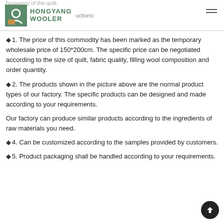HONGYANG WOOLER
◆1. The price of this commodity has been marked as the temporary wholesale price of 150*200cm. The specific price can be negotiated according to the size of quilt, fabric quality, filling wool composition and order quantity.
◆2. The products shown in the picture above are the normal product types of our factory. The specific products can be designed and made according to your requirements.
Our factory can produce similar products according to the ingredients of raw materials you need.
◆4. Can be customized according to the samples provided by customers.
◆5. Product packaging shall be handled according to your requirements.